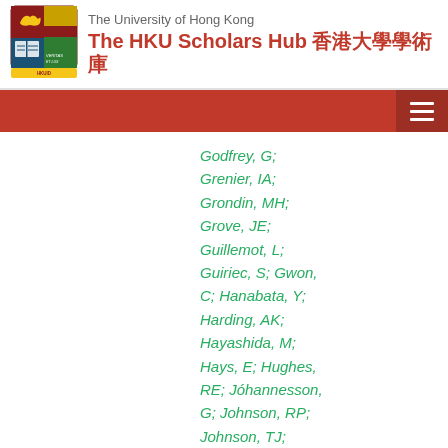The University of Hong Kong — The HKU Scholars Hub 香港大學學術庫
Godfrey, G; Grenier, IA; Grondin, MH; Grove, JE; Guillemot, L; Guiriec, S; Gwon, C; Hanabata, Y; Harding, AK; Hayashida, M; Hays, E; Hughes, RE; Jóhannesson, G; Johnson, RP; Johnson, TJ; Johnson, WN; Kamae, T; Katagiri, H; Kataoka, J; Kawai,